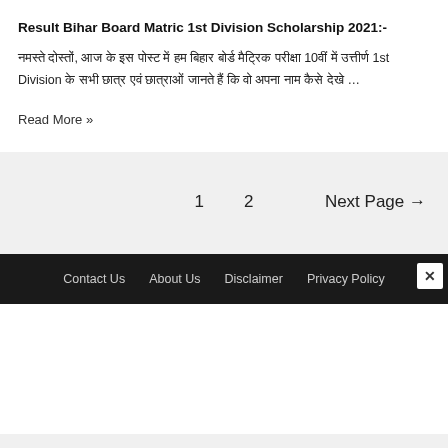Result Bihar Board Matric 1st Division Scholarship 2021:-
नमस्ते दोस्तों, आज के इस पोस्ट में हम बिहार बोर्ड मैट्रिक परीक्षा 10वीं में उत्तीर्ण 1st Division के सभी छात्र एवं छात्राओं जानते हैं कि वो अपना नाम कैसे देखे …
Read More »
1
2
Next Page →
Contact Us   About Us   Disclaimer   Privacy Policy